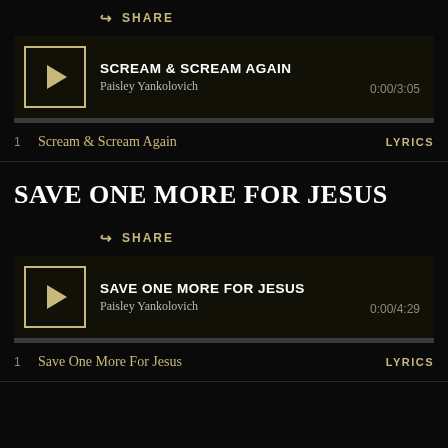SHARE
[Figure (screenshot): Music player widget showing track 'SCREAM & SCREAM AGAIN' by Paisley Yankolovich, time 0:00/3:05, with play button]
1  Scream & Scream Again    LYRICS
SAVE ONE MORE FOR JESUS
SHARE
[Figure (screenshot): Music player widget showing track 'SAVE ONE MORE FOR JESUS' by Paisley Yankolovich, time 0:00/4:29, with play button]
1  Save One More For Jesus    LYRICS